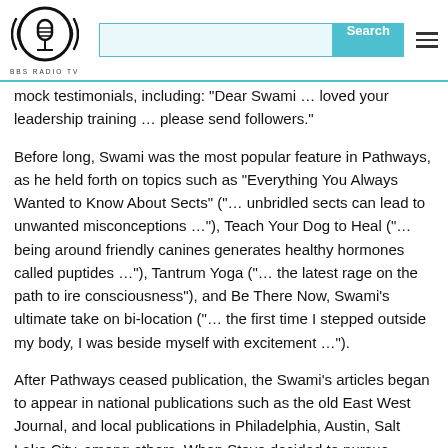BBS RADIO TV — header with logo, search bar, and menu
mock testimonials, including: "Dear Swami … loved your leadership training … please send followers."
Before long, Swami was the most popular feature in Pathways, as he held forth on topics such as "Everything You Always Wanted to Know About Sects" ("… unbridled sects can lead to unwanted misconceptions …"), Teach Your Dog to Heal ("… being around friendly canines generates healthy hormones called puptides …"), Tantrum Yoga ("… the latest rage on the path to ire consciousness"), and Be There Now, Swami's ultimate take on bi-location ("… the first time I stepped outside my body, I was beside myself with excitement …").
After Pathways ceased publication, the Swami's articles began to appear in national publications such as the old East West Journal, and local publications in Philadelphia, Austin, Salt Lake City, among others. When Steve decided to pursue comedy as a full-time career in